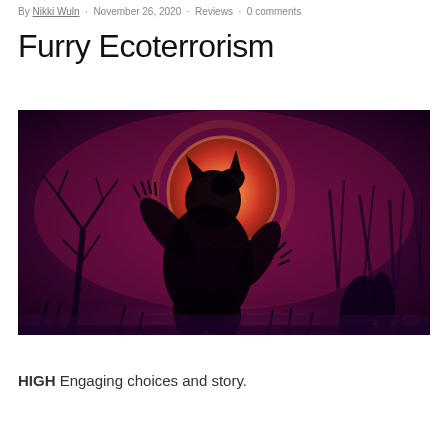By Nikki Wuln · November 26, 2020 · Reviews · 0 comments
Furry Ecoterrorism
[Figure (photo): Dark fantasy illustration of a werewolf silhouette howling against a large red/orange full moon, with twisted bare trees and shadowy figures in a purple-toned night scene.]
HIGH Engaging choices and story.